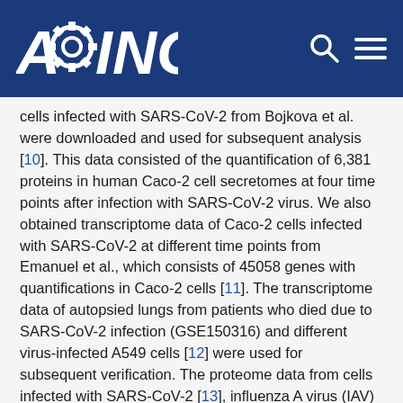AGING
cells infected with SARS-CoV-2 from Bojkova et al. were downloaded and used for subsequent analysis [10]. This data consisted of the quantification of 6,381 proteins in human Caco-2 cell secretomes at four time points after infection with SARS-CoV-2 virus. We also obtained transcriptome data of Caco-2 cells infected with SARS-CoV-2 at different time points from Emanuel et al., which consists of 45058 genes with quantifications in Caco-2 cells [11]. The transcriptome data of autopsied lungs from patients who died due to SARS-CoV-2 infection (GSE150316) and different virus-infected A549 cells [12] were used for subsequent verification. The proteome data from cells infected with SARS-CoV-2 [13], influenza A virus (IAV) [14] and respiratory syncytial virus (RSV) [15], which provided the information of differentially expressed proteins, were also collected as a source of circumstantial